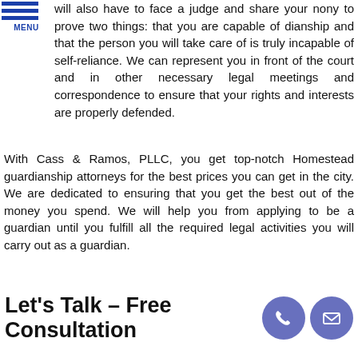[Figure (other): Navigation menu icon with three blue horizontal bars and MENU label]
will also have to face a judge and share your nony to prove two things: that you are capable of dianship and that the person you will take care of is truly incapable of self-reliance. We can represent you in front of the court and in other necessary legal meetings and correspondence to ensure that your rights and interests are properly defended.
With Cass & Ramos, PLLC, you get top-notch Homestead guardianship attorneys for the best prices you can get in the city. We are dedicated to ensuring that you get the best out of the money you spend. We will help you from applying to be a guardian until you fulfill all the required legal activities you will carry out as a guardian.
REQUEST A CONSULTATION
Let's Talk – Free Consultation